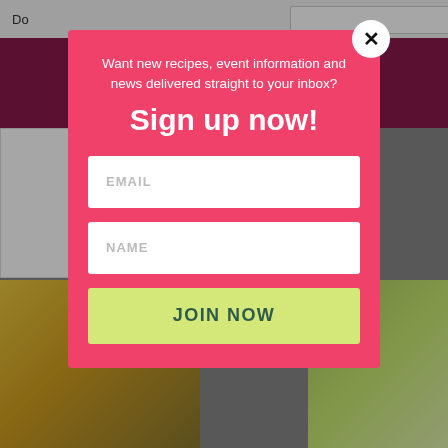[Figure (screenshot): Background webpage showing a dark red banner header and food images partially visible behind a modal overlay]
Want new recipes, event information and news delivered straight to your inbox?
Sign up now!
EMAIL
NAME
JOIN NOW